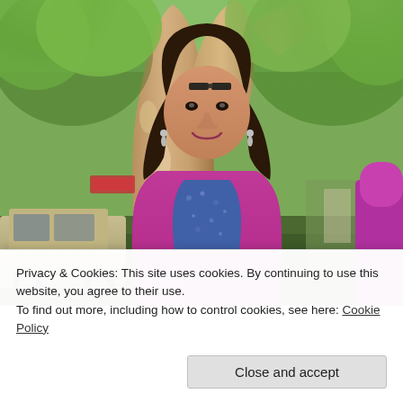[Figure (photo): A smiling woman with dark hair wearing a magenta/pink jacket over a blue patterned shirt, standing outdoors in front of a large tree with peeling bark. A gold-colored car is visible on the left, and green foliage fills the background. Another person in purple/magenta is partially visible on the right edge.]
Privacy & Cookies: This site uses cookies. By continuing to use this website, you agree to their use.
To find out more, including how to control cookies, see here: Cookie Policy
Close and accept